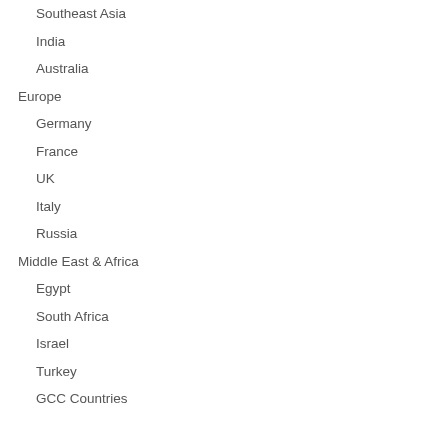Southeast Asia
India
Australia
Europe
Germany
France
UK
Italy
Russia
Middle East & Africa
Egypt
South Africa
Israel
Turkey
GCC Countries